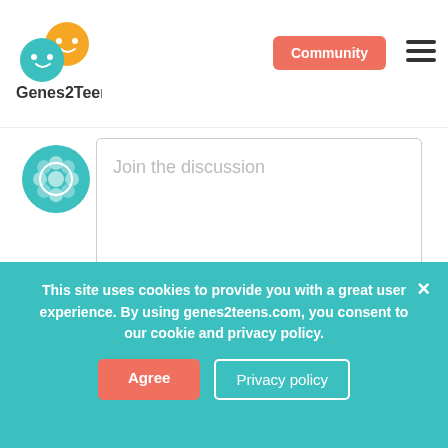[Figure (logo): Genes2Teens logo with colorful speech bubble icons and text]
Community
[Figure (illustration): Geometric flower avatar icon in teal/white]
Join the discussion
Enter your name*
Enter your email*
I agree to the Terms of use and
This site uses cookies to provide you with a great user experience. By using genes2teens.com, you consent to our cookie and privacy policy.
Agree
Privacy policy